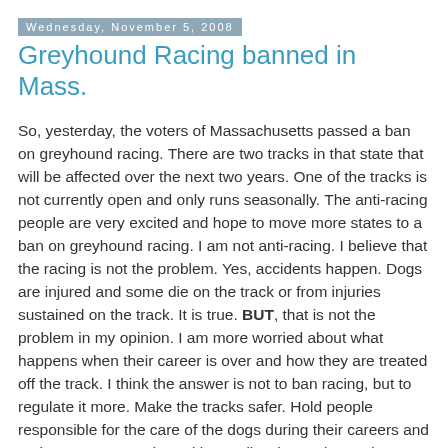Wednesday, November 5, 2008
Greyhound Racing banned in Mass.
So, yesterday, the voters of Massachusetts passed a ban on greyhound racing. There are two tracks in that state that will be affected over the next two years. One of the tracks is not currently open and only runs seasonally. The anti-racing people are very excited and hope to move more states to a ban on greyhound racing. I am not anti-racing. I believe that the racing is not the problem. Yes, accidents happen. Dogs are injured and some die on the track or from injuries sustained on the track. It is true. BUT, that is not the problem in my opinion. I am more worried about what happens when their career is over and how they are treated off the track. I think the answer is not to ban racing, but to regulate it more. Make the tracks safer. Hold people responsible for the care of the dogs during their careers and make sure NO greyhound is needlessly put down when their career is over. More oversight.
What would happen to the breed if there were no more